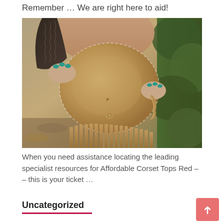Remember … We are right here to aid!
[Figure (photo): Person holding a tan/brown leather fringe bag with teal painted nails, outdoors with green foliage in background]
When you need assistance locating the leading specialist resources for Affordable Corset Tops Red – – this is your ticket …
Uncategorized